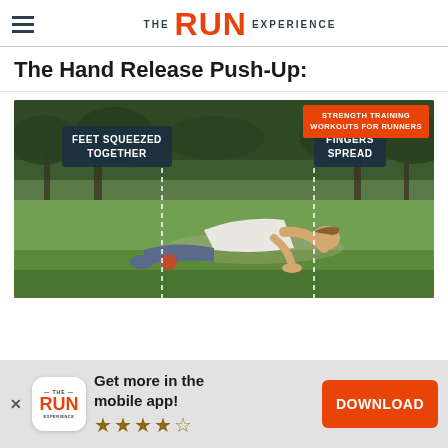THE RUN EXPERIENCE
The Hand Release Push-Up:
[Figure (photo): A man performing a push-up position on grass outdoors. Two label boxes overlay the image: 'FEET SQUEEZED TOGETHER' on the left and 'FINGERS SPREAD' on the right, each with dotted lines pointing down. An orange badge in the top-right reads 'STRENGTH TRAINING WORKOUTS FOR RUNNERS'.]
Get more in the mobile app!
DOWNLOAD